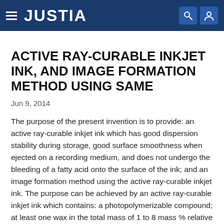JUSTIA
ACTIVE RAY-CURABLE INKJET INK, AND IMAGE FORMATION METHOD USING SAME
Jun 9, 2014
The purpose of the present invention is to provide: an active ray-curable inkjet ink which has good dispersion stability during storage, good surface smoothness when ejected on a recording medium, and does not undergo the bleeding of a fatty acid onto the surface of the ink; and an image formation method using the active ray-curable inkjet ink. The purpose can be achieved by an active ray-curable inkjet ink which contains: a photopolymerizable compound; at least one wax in the total mass of 1 to 8 mass % relative to the whole mass of